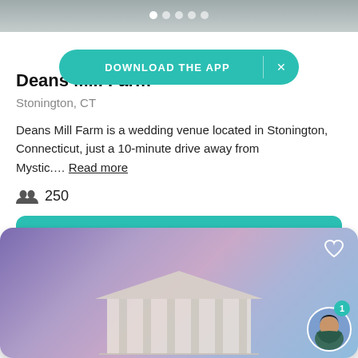[Figure (screenshot): Photo strip with dot navigation indicators at top of venue listing card]
[Figure (screenshot): Download the App teal banner overlay with X close button]
Deans Mill Farm
Stonington, CT
Deans Mill Farm is a wedding venue located in Stonington, Connecticut, just a 10-minute drive away from Mystic.... Read more
250
Request pricing
[Figure (photo): Second venue listing card showing a large building with columns against a purple/blue sky background, with a heart icon and chat avatar overlay]